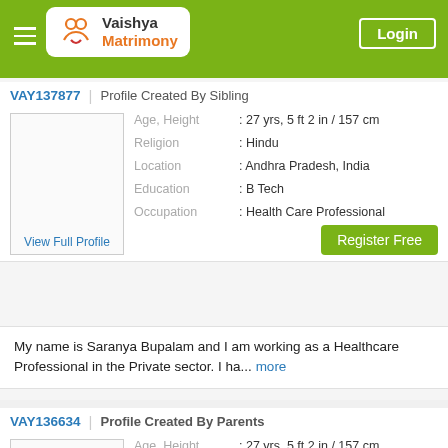Vaishya Matrimony | Login
VAY137877 | Profile Created By Sibling
View Full Profile
Age, Height : 27 yrs, 5 ft 2 in / 157 cm
Religion : Hindu
Location : Andhra Pradesh, India
Education : B Tech
Occupation : Health Care Professional
Register Free
My name is Saranya Bupalam and I am working as a Healthcare Professional in the Private sector. I ha... more
VAY136634 | Profile Created By Parents
Age, Height : 27 yrs, 5 ft 2 in / 157 cm
Religion : Hindu
Location : Andhra Pradesh, India